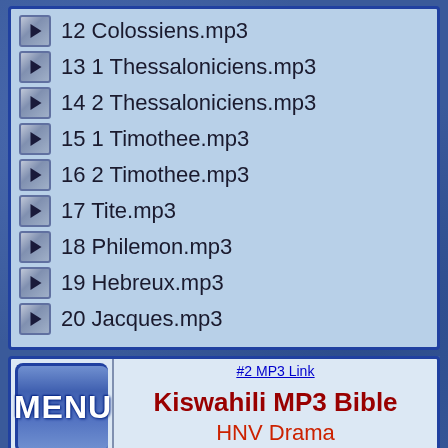12 Colossiens.mp3
13 1 Thessaloniciens.mp3
14 2 Thessaloniciens.mp3
15 1 Timothee.mp3
16 2 Timothee.mp3
17 Tite.mp3
18 Philemon.mp3
19 Hebreux.mp3
20 Jacques.mp3
#2 MP3 Link
Kiswahili MP3 Bible
HNV Drama